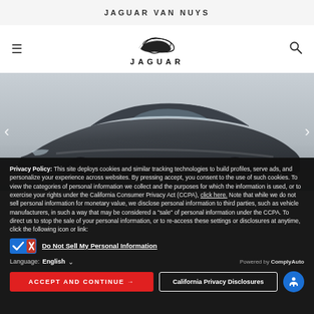JAGUAR VAN NUYS
[Figure (logo): Jaguar leaping cat logo with JAGUAR wordmark below]
[Figure (photo): Dark grey Tesla Model 3 sedan photographed at a dealership, with left and right navigation arrows]
Privacy Policy: This site deploys cookies and similar tracking technologies to build profiles, serve ads, and personalize your experience across websites. By pressing accept, you consent to the use of such cookies. To view the categories of personal information we collect and the purposes for which the information is used, or to exercise your rights under the California Consumer Privacy Act (CCPA), click here. Note that while we do not sell personal information for monetary value, we disclose personal information to third parties, such as vehicle manufacturers, in such a way that may be considered a "sale" of personal information under the CCPA. To direct us to stop the sale of your personal information, or to re-access these settings or disclosures at anytime, click the following icon or link:
Do Not Sell My Personal Information
Language: English   Powered by ComplyAuto
ACCEPT AND CONTINUE →   California Privacy Disclosures